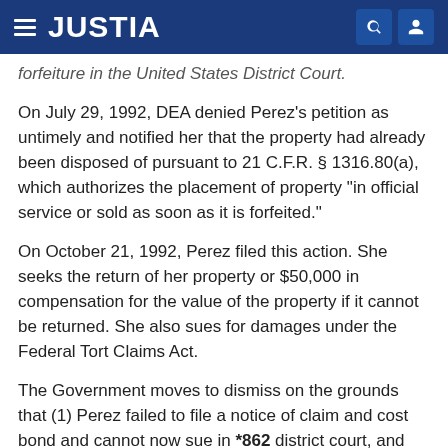JUSTIA
forfeiture in the United States District Court.
On July 29, 1992, DEA denied Perez's petition as untimely and notified her that the property had already been disposed of pursuant to 21 C.F.R. § 1316.80(a), which authorizes the placement of property "in official service or sold as soon as it is forfeited."
On October 21, 1992, Perez filed this action. She seeks the return of her property or $50,000 in compensation for the value of the property if it cannot be returned. She also sues for damages under the Federal Tort Claims Act.
The Government moves to dismiss on the grounds that (1) Perez failed to file a notice of claim and cost bond and cannot now sue in *862 district court, and (2) the Federal Tort Claims Act does not authorize suits for